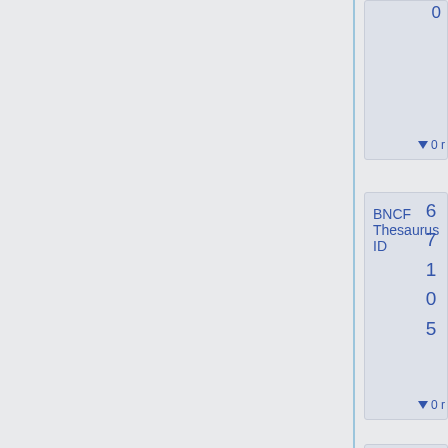[Figure (screenshot): Partial view of a web interface showing database/thesaurus entry cards. Top card partially visible showing '0 r' and a dropdown. Middle card labeled 'BNCF Thesaurus ID' with sort icon and ID number '67105' displayed vertically, with '0 r' dropdown. Bottom card labeled 'Bibliothèque nationale de France ID' with sort icon and number '119312' displayed vertically.]